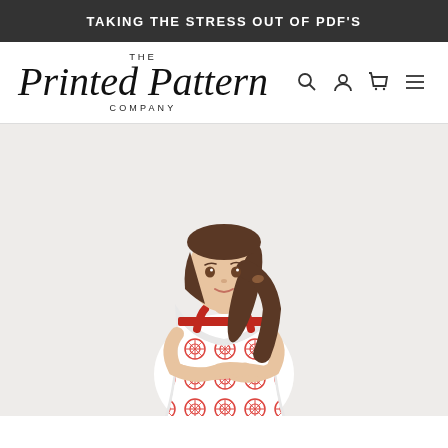TAKING THE STRESS OUT OF PDF'S
[Figure (logo): The Printed Pattern Company logo with script font and navigation icons (search, user, cart, menu)]
[Figure (photo): A young girl with long brown hair in a ponytail, wearing a red and white patterned sundress, standing with arms crossed and smiling at the camera against a white background]